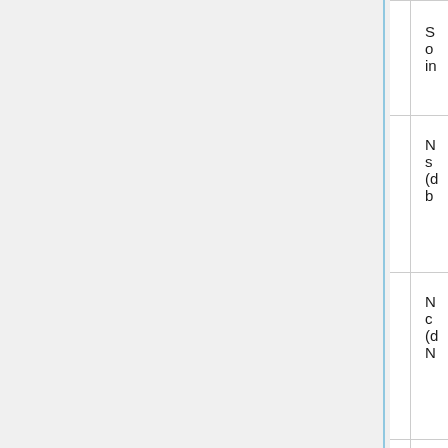| Name | Count | Description |
| --- | --- | --- |
| DF_SYM | 1 | S o in (truncated) |
| DF_N_SURF | 1 | N s (d b (truncated) |
| DF_N_CORN | 1 | N c (d N (truncated) |
| DF_VOLUME | 1 | V c a th h c (truncated) |
|  |  | A p (truncated) |